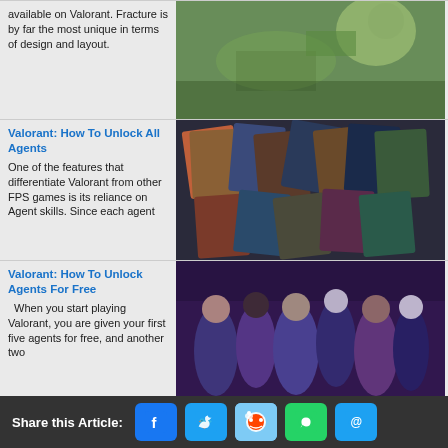available on Valorant. Fracture is by far the most unique in terms of design and layout.
[Figure (photo): Aerial view of Valorant map Fracture]
Valorant: How To Unlock All Agents
One of the features that differentiate Valorant from other FPS games is its reliance on Agent skills. Since each agent
[Figure (photo): Collage of Valorant agent character cards]
Valorant: How To Unlock Agents For Free
When you start playing Valorant, you are given your first five agents for free, and another two
[Figure (photo): Group of Valorant agents characters posed together under purple lighting]
Valorant: How To Unlock Agents Fast
The newest agent is coming very soon and of course, you don't want to be the last one to use them, right? Don't worry,
[Figure (photo): Large group of Valorant agents with red X logo in background]
Share this Article: